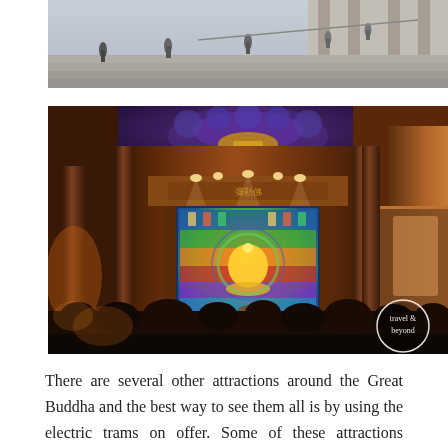[Figure (photo): Outdoor photo of stone steps with people walking, classical building facade in background, daytime.]
[Figure (photo): Interior of an ornate Buddhist temple or hall lit with warm amber lighting. A large illuminated display screen shows a colorful Buddha image. Elaborate decorated ceiling with blue and gold motifs visible. Crowd of visitors silhouetted in foreground. 'travel & beyond' watermark in lower right corner.]
There are several other attractions around the Great Buddha and the best way to see them all is by using the electric trams on offer. Some of these attractions include the Altar of Buddha's footsteps, the Nine